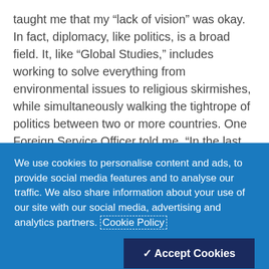taught me that my “lack of vision” was okay. In fact, diplomacy, like politics, is a broad field. It, like “Global Studies,” includes working to solve everything from environmental issues to religious skirmishes, while simultaneously walking the tightrope of politics between two or more countries. One Foreign Service Officer told me, “In the last six years [with the U.S. State Department], I have lived in four different countries (two of them in the middle of war zones). I have worked with the
We use cookies to personalise content and ads, to provide social media features and to analyse our traffic. We also share information about your use of our site with our social media, advertising and analytics partners. Cookie Policy